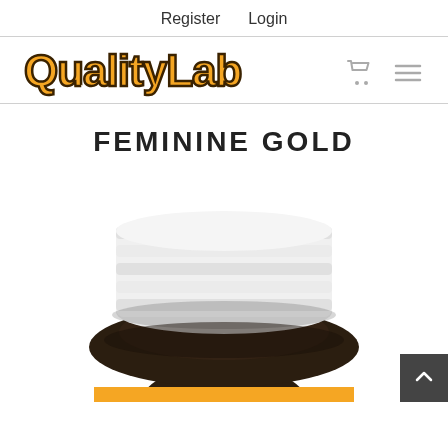Register    Login
[Figure (logo): QualityLab logo in orange and dark brown with cart and hamburger menu icons]
FEMININE GOLD
[Figure (photo): Dark amber supplement bottle with white ribbed cap, partially cropped, with a back-to-top button in lower right corner]